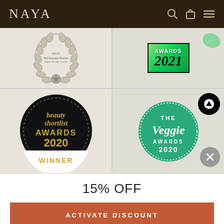NAYA
[Figure (screenshot): Screenshot of NAYA website showing awards section with four award badges: silver wreath award for Best Everyday Skincare Regime Provider London, green Awards 2021 badge, Beauty Shortlist Awards 2020 Winner badge (black circle with gold text), and The Veggie Awards 2020 badge (teal circle). Below is a 15% OFF discount popup with ACTIVATE DISCOUNT button.]
15% OFF
ACTIVATE DISCOUNT